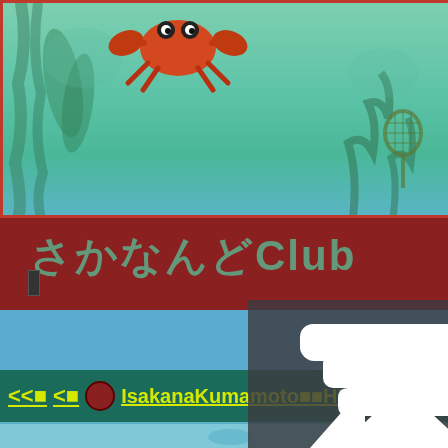[Figure (screenshot): Screenshot of a Japanese website or game interface showing an aquarium/underwater themed page with a crab and sea creatures graphic at the top, Japanese text reading 'さかなんどClub' on a dark red banner, an underwater scene below, navigation bar with yellow text '<<■ <■ IsakanaKumamoto■■HP', and a large dark semi-transparent overlay panel with a white upload/share arrow icon in the center]
<<■  <■  🐢IsakanaKumamoto■■HP